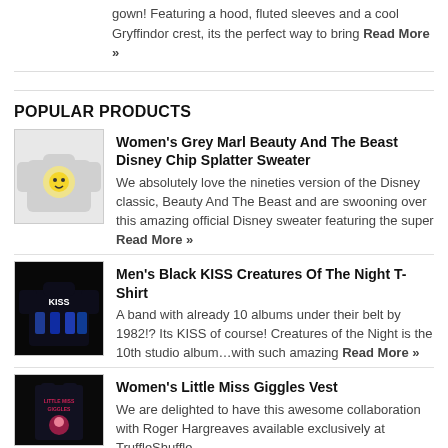gown! Featuring a hood, fluted sleeves and a cool Gryffindor crest, its the perfect way to bring Read More »
POPULAR PRODUCTS
[Figure (photo): Women's grey sweater with Chip from Beauty and the Beast graphic]
Women's Grey Marl Beauty And The Beast Disney Chip Splatter Sweater
We absolutely love the nineties version of the Disney classic, Beauty And The Beast and are swooning over this amazing official Disney sweater featuring the super Read More »
[Figure (photo): Men's black KISS band t-shirt with Creatures of the Night artwork]
Men's Black KISS Creatures Of The Night T-Shirt
A band with already 10 albums under their belt by 1982!? Its KISS of course! Creatures of the Night is the 10th studio album…with such amazing Read More »
[Figure (photo): Women's Little Miss Giggles vest top]
Women's Little Miss Giggles Vest
We are delighted to have this awesome collaboration with Roger Hargreaves available exclusively at TruffleShuffle.